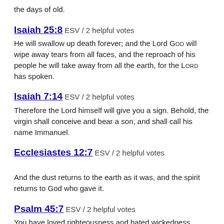the days of old.
Isaiah 25:8 ESV / 2 helpful votes
He will swallow up death forever; and the Lord God will wipe away tears from all faces, and the reproach of his people he will take away from all the earth, for the Lord has spoken.
Isaiah 7:14 ESV / 2 helpful votes
Therefore the Lord himself will give you a sign. Behold, the virgin shall conceive and bear a son, and shall call his name Immanuel.
Ecclesiastes 12:7 ESV / 2 helpful votes
And the dust returns to the earth as it was, and the spirit returns to God who gave it.
Psalm 45:7 ESV / 2 helpful votes
You have loved righteousness and hated wickedness. Therefore God, your God, has anointed you with the oil of gladness beyond your companions;